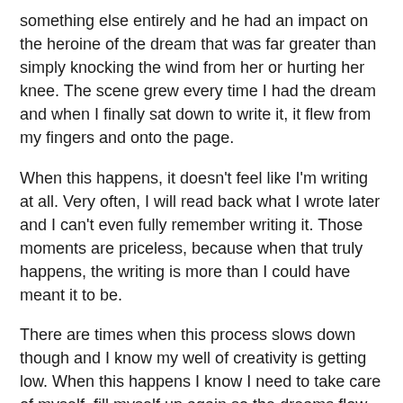something else entirely and he had an impact on the heroine of the dream that was far greater than simply knocking the wind from her or hurting her knee. The scene grew every time I had the dream and when I finally sat down to write it, it flew from my fingers and onto the page.
When this happens, it doesn't feel like I'm writing at all. Very often, I will read back what I wrote later and I can't even fully remember writing it. Those moments are priceless, because when that truly happens, the writing is more than I could have meant it to be.
There are times when this process slows down though and I know my well of creativity is getting low. When this happens I know I need to take care of myself, fill myself up again so the dreams flow and inspiration strikes. The way I do this is to do the things I love – like skiing and doing fun things with my family, swimming and going for walks, reading books I love, watching movies and TV shows I can sink into and lose myself in, either by myself or with my family or friends. I read more. I go do writing workshops. I chat to writing friends. I critique their work. I discuss the issues in their manuscripts